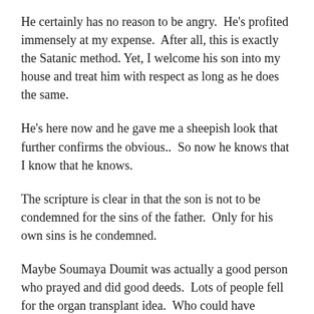He certainly has no reason to be angry.  He's profited immensely at my expense.  After all, this is exactly the Satanic method. Yet, I welcome his son into my house and treat him with respect as long as he does the same.
He's here now and he gave me a sheepish look that further confirms the obvious..  So now he knows that I know that he knows.
The scripture is clear in that the son is not to be condemned for the sins of the father.  Only for his own sins is he condemned.
Maybe Soumaya Doumit was actually a good person who prayed and did good deeds.  Lots of people fell for the organ transplant idea.  Who could have predicted that it would turn into such a horrifying business and vicious murder of innocent children.